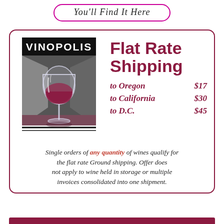You'll Find It Here
[Figure (logo): Vinopolis wine shop logo with art deco style showing a wine glass against geometric background]
Flat Rate Shipping
to Oregon   $17
to California   $30
to D.C.   $45
Single orders of any quantity of wines qualify for the flat rate Ground shipping. Offer does not apply to wine held in storage or multiple invoices consolidated into one shipment.